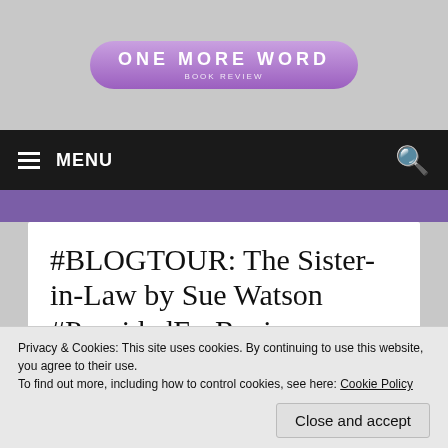[Figure (logo): One More Word blog logo banner with decorative books and teacup illustrations on grey background, purple pill-shaped logo with text ONE MORE WORD]
≡ MENU
#BLOGTOUR: The Sister-in-Law by Sue Watson #ProvidedForReview #Gifted #TheSisterinLaw @bookouture
Privacy & Cookies: This site uses cookies. By continuing to use this website, you agree to their use.
To find out more, including how to control cookies, see here: Cookie Policy
Close and accept